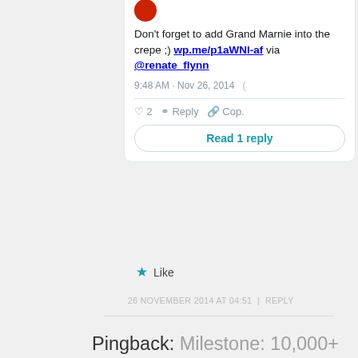[Figure (screenshot): Tweet card showing text: Don't forget to add Grand Marnie into the crepe ;) wp.me/p1aWNl-af via @renate_flynn, timestamp 9:48 AM · Nov 26, 2014, with like count 2, Reply, Copy link actions, and Read 1 reply button]
★ Like
26 NOVEMBER 2014 AT 04:51 | REPLY
Pingback: Milestone: 10,000+ Views! | Impressions Travelogue